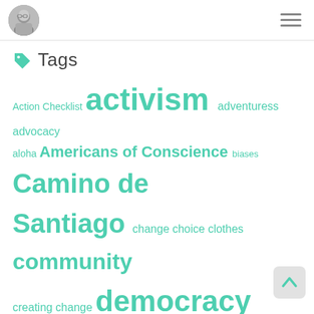Blog header with avatar and hamburger menu
Tags
Action Checklist activism adventuress advocacy aloha Americans of Conscience biases Camino de Santiago change choice clothes community creating change democracy distraction election Ereshkigal fear feminine heroic focus hawaii Inanna inspiration Jennifer Hofmann justice Kauanakakai love molokai overwhelm pilgrim politics ranch reflection resistance resolution Saturday Market simplicity simplify Spain spiritual